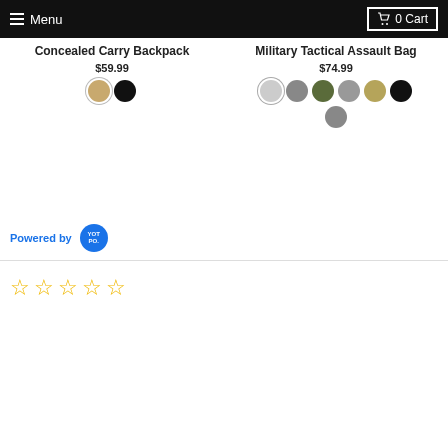Menu  0 Cart
Concealed Carry Backpack
$59.99
Military Tactical Assault Bag
$74.99
Powered by YOTPO
☆☆☆☆☆